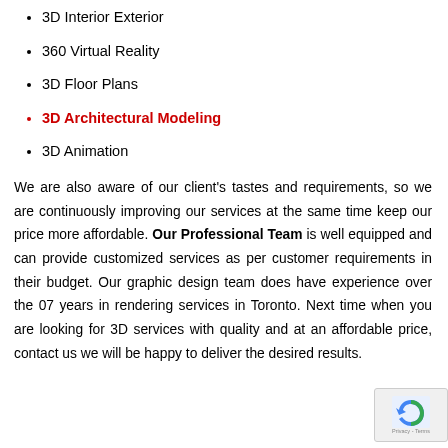3D Interior Exterior
360 Virtual Reality
3D Floor Plans
3D Architectural Modeling
3D Animation
We are also aware of our client's tastes and requirements, so we are continuously improving our services at the same time keep our price more affordable. Our Professional Team is well equipped and can provide customized services as per customer requirements in their budget. Our graphic design team does have experience over the 07 years in rendering services in Toronto. Next time when you are looking for 3D services with quality and at an affordable price, contact us we will be happy to deliver the desired results.